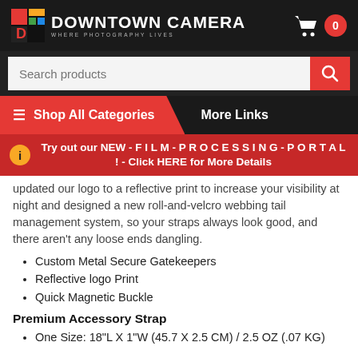[Figure (logo): Downtown Camera logo with colorful icon and tagline 'Where Photography Lives']
Search products
Shop All Categories   More Links
Try out our NEW - F I L M - P R O C E S S I N G - P O R T A L ! - Click HERE for More Details
updated our logo to a reflective print to increase your visibility at night and designed a new roll-and-velcro webbing tail management system, so your straps always look good, and there aren't any loose ends dangling.
Custom Metal Secure Gatekeepers
Reflective logo Print
Quick Magnetic Buckle
Premium Accessory Strap
One Size: 18"L X 1"W (45.7 X 2.5 CM) / 2.5 OZ (.07 KG)